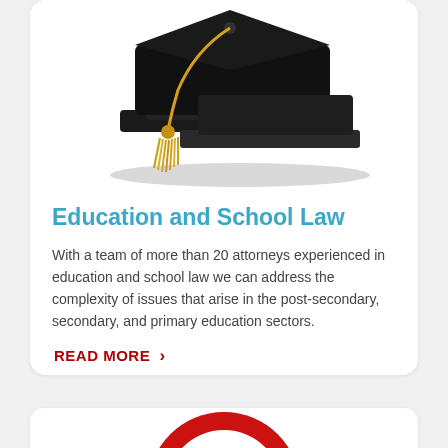[Figure (photo): Graduation mortarboard cap with gold tassel, black cap on white background]
Education and School Law
With a team of more than 20 attorneys experienced in education and school law we can address the complexity of issues that arise in the post-secondary, secondary, and primary education sectors.
READ MORE >
[Figure (photo): Partial view of a red and white target/bullseye circle, bottom portion of second card]